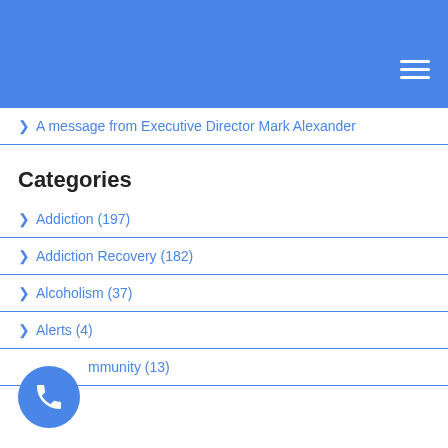[Figure (screenshot): Blue navigation header bar with hamburger menu icon]
> A message from Executive Director Mark Alexander
Categories
> Addiction (197)
> Addiction Recovery (182)
> Alcoholism (37)
> Alerts (4)
> Community (13)